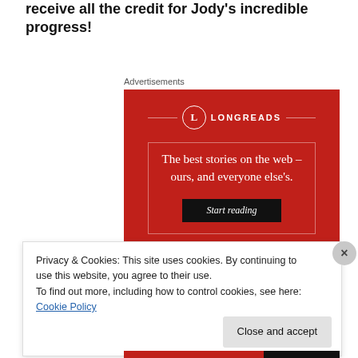receive all the credit for Jody's incredible progress!
Advertisements
[Figure (illustration): Longreads advertisement on red background. Logo with 'L' in circle and 'LONGREADS' text. Tagline: 'The best stories on the web – ours, and everyone else’s.' Black button: 'Start reading']
Privacy & Cookies: This site uses cookies. By continuing to use this website, you agree to their use.
To find out more, including how to control cookies, see here: Cookie Policy
Close and accept